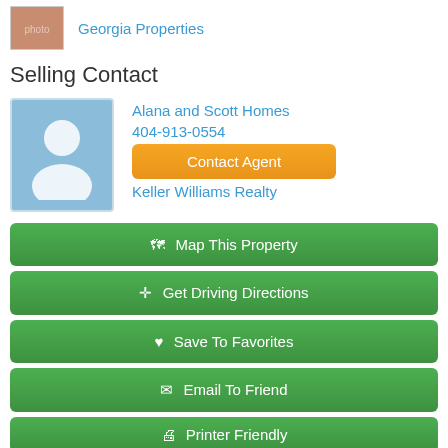[Figure (photo): Small profile photo thumbnail of a woman, partially cropped]
Georgia Properties
Selling Contact
[Figure (illustration): Default user avatar placeholder — blue background with white silhouette of a person]
Alana and Scott Homes
404-913-0554
Contact Agent
Keller Williams Realty
Map This Property
Get Driving Directions
Save To Favorites
Email To Friend
Printer Friendly